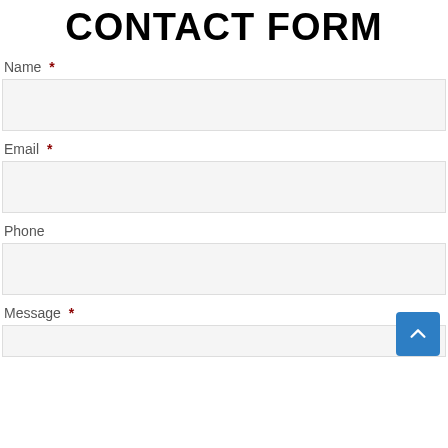CONTACT FORM
Name *
Email *
Phone
Message *